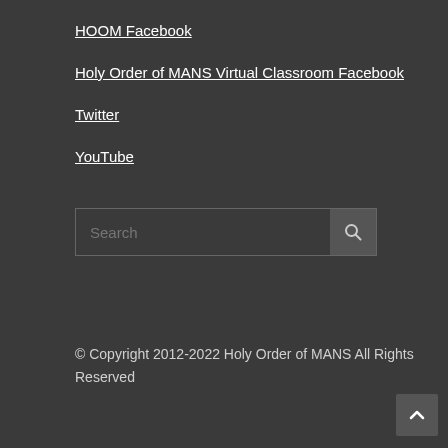HOOM Facebook
Holy Order of MANS Virtual Classroom Facebook
Twitter
YouTube
Search
© Copyright 2012-2022 Holy Order of MANS All Rights Reserved